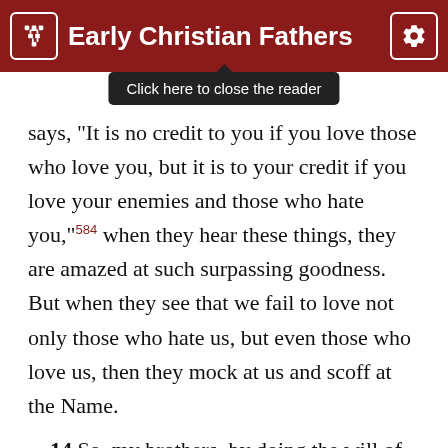Early Christian Fathers
says, "It is no credit to you if you love those who love you, but it is to your credit if you love your enemies and those who hate you,"584 when they hear these things, they are amazed at such surpassing goodness. But when they see that we fail to love not only those who hate us, but even those who love us, then they mock at us and scoff at the Name.
14 So, my brothers, by doing the will of God our Father we shall belong to the first Church, the spiritual one, which was created before the sun [199] and the moon. But if we fail to do the Lord's will,